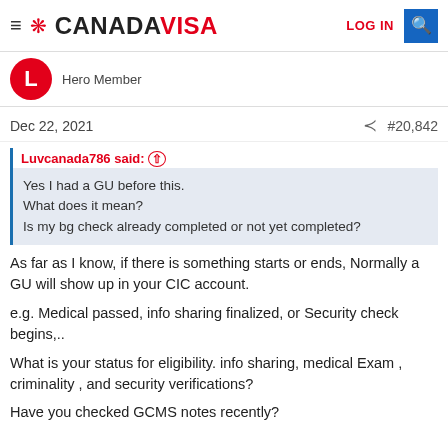CANADAVISA — LOG IN
Hero Member
Dec 22, 2021   #20,842
Luvcanada786 said: ↑
Yes I had a GU before this.
What does it mean?
Is my bg check already completed or not yet completed?
As far as I know, if there is something starts or ends, Normally a GU will show up in your CIC account.
e.g. Medical passed, info sharing finalized, or Security check begins,..
What is your status for eligibility. info sharing, medical Exam , criminality , and security verifications?
Have you checked GCMS notes recently?